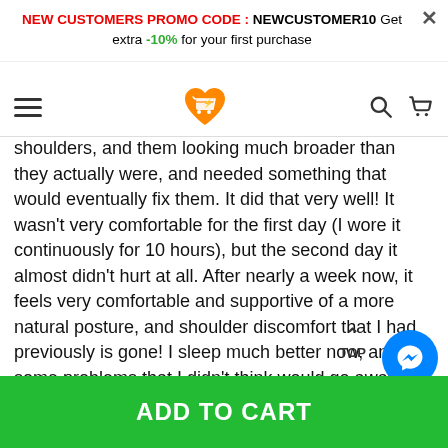NEW CUSTOMERS PROMO CODE : NEWCUSTOMER10 Get extra -10% for your first purchase
[Figure (logo): Shopping cart heart logo icon in orange]
shoulders, and them looking much broader than they actually were, and needed something that would eventually fix them. It did that very well! It wasn't very comfortable for the first day (I wore it continuously for 10 hours), but the second day it almost didn't hurt at all. After nearly a week now, it feels very comfortable and supportive of a more natural posture, and shoulder discomfort that I had previously is gone! I sleep much better now, and some problems that I didn't think would go away did (I had a protruding collarbone on my right shoulder that's settled back in where it goes, wh... s much better). I even bought another for the family, since the... d
ADD TO CART